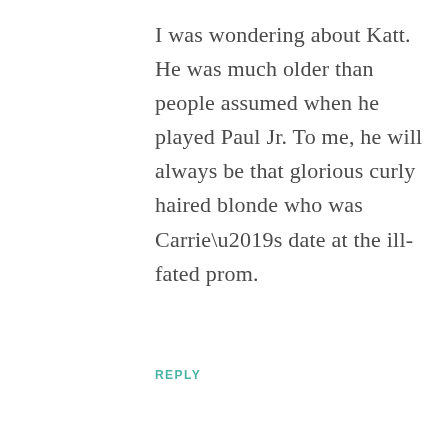I was wondering about Katt. He was much older than people assumed when he played Paul Jr. To me, he will always be that glorious curly haired blonde who was Carrie’s date at the ill-fated prom.
REPLY